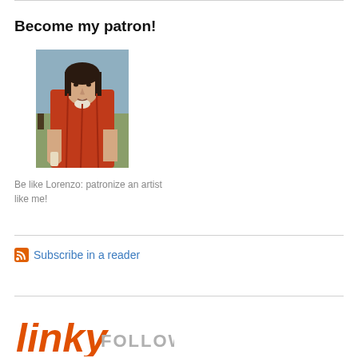Become my patron!
[Figure (photo): Portrait painting of a man in red Renaissance clothing, resembling Lorenzo de' Medici, seated against a landscape background with trees.]
Be like Lorenzo: patronize an artist like me!
Subscribe in a reader
[Figure (logo): Linky Followers logo — 'linky' in orange italic font with 'FOLLOWERS' in gray uppercase letters beside it.]